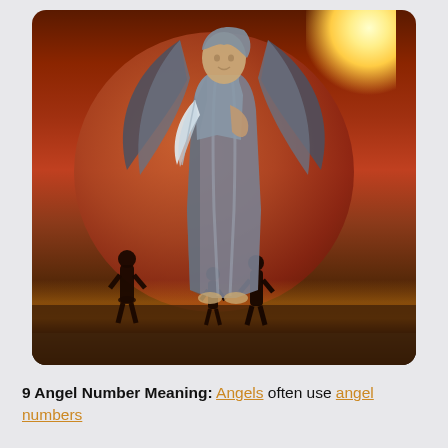[Figure (illustration): Digital composite illustration of a large silver angel statue with wings, holding a feather, standing in a field with a giant red/orange planet in the background, a bright sun flare top right, and three human silhouettes (adults and child) in the foreground at sunset.]
9 Angel Number Meaning: Angels often use angel numbers